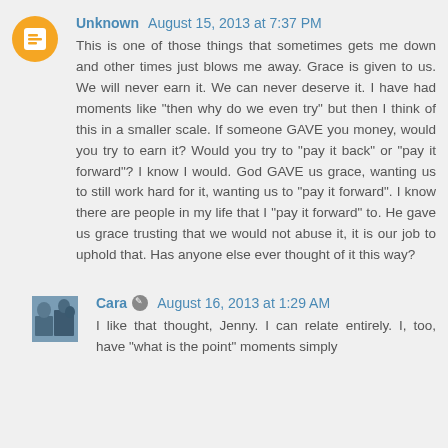Unknown  August 15, 2013 at 7:37 PM
This is one of those things that sometimes gets me down and other times just blows me away. Grace is given to us. We will never earn it. We can never deserve it. I have had moments like "then why do we even try" but then I think of this in a smaller scale. If someone GAVE you money, would you try to earn it? Would you try to "pay it back" or "pay it forward"? I know I would. God GAVE us grace, wanting us to still work hard for it, wanting us to "pay it forward". I know there are people in my life that I "pay it forward" to. He gave us grace trusting that we would not abuse it, it is our job to uphold that. Has anyone else ever thought of it this way?
Cara  August 16, 2013 at 1:29 AM
I like that thought, Jenny. I can relate entirely. I, too, have "what is the point" moments simply